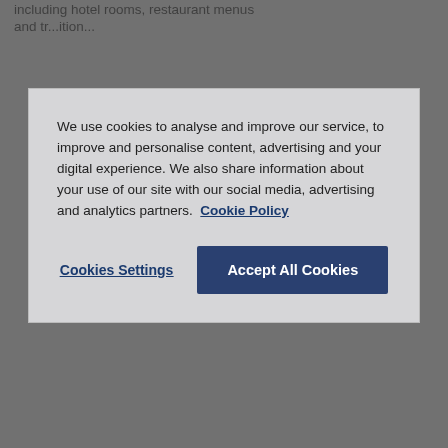including hotel rooms, restaurant menus and tr...
We use cookies to analyse and improve our service, to improve and personalise content, advertising and your digital experience. We also share information about your use of our site with our social media, advertising and analytics partners. Cookie Policy
Cookies Settings
Accept All Cookies
[Figure (screenshot): Black image block (video or photo placeholder)]
Gates path and Founder of Ecologie du corps
Julien helps athletes with their performance, including European tour pro